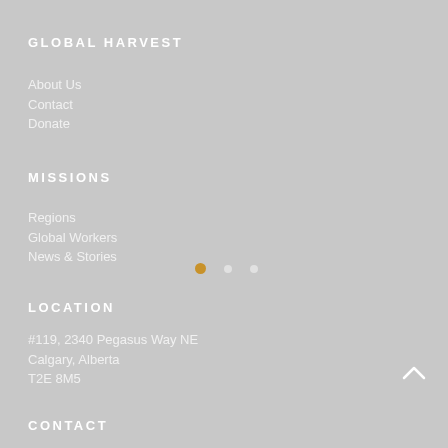GLOBAL HARVEST
About Us
Contact
Donate
MISSIONS
Regions
Global Workers
News & Stories
LOCATION
#119, 2340 Pegasus Way NE
Calgary, Alberta
T2E 8M5
CONTACT